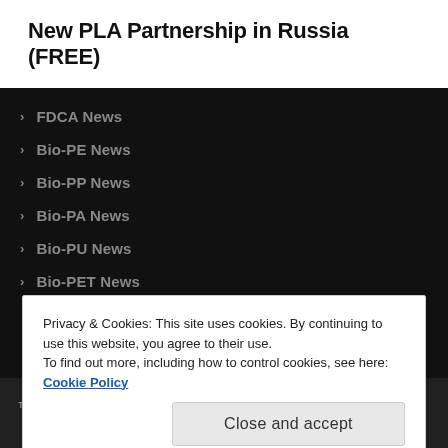New PLA Partnership in Russia (FREE)
FDCA News
Bio-PE News
Bio-PP News
Bio-PA News
Bio-PU News
Bio-PET News
Privacy & Cookies: This site uses cookies. By continuing to use this website, you agree to their use.
To find out more, including how to control cookies, see here: Cookie Policy
Close and accept
TERMS OF SERVICE / COOKIE POLICY / PRIVACY POLICY / SUBSCRIPTIONS